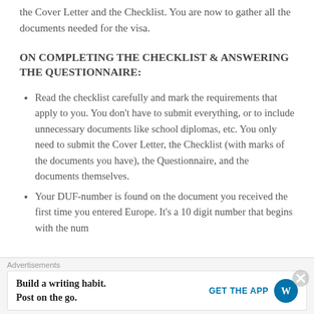the Cover Letter and the Checklist. You are now to gather all the documents needed for the visa.
ON COMPLETING THE CHECKLIST & ANSWERING THE QUESTIONNAIRE:
Read the checklist carefully and mark the requirements that apply to you. You don't have to submit everything, or to include unnecessary documents like school diplomas, etc. You only need to submit the Cover Letter, the Checklist (with marks of the documents you have), the Questionnaire, and the documents themselves.
Your DUF-number is found on the document you received the first time you entered Europe. It's a 10 digit number that begins with the number fi...
Advertisements — Build a writing habit. Post on the go. GET THE APP